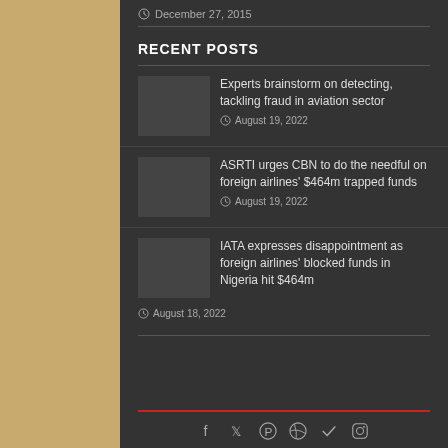December 27, 2015
RECENT POSTS
Experts brainstorm on detecting, tackling fraud in aviation sector
August 19, 2022
ASRTI urges CBN to do the needful on foreign airlines' $464m trapped funds
August 19, 2022
IATA expresses disappointment as foreign airlines' blocked funds in Nigeria hit $464m
August 18, 2022